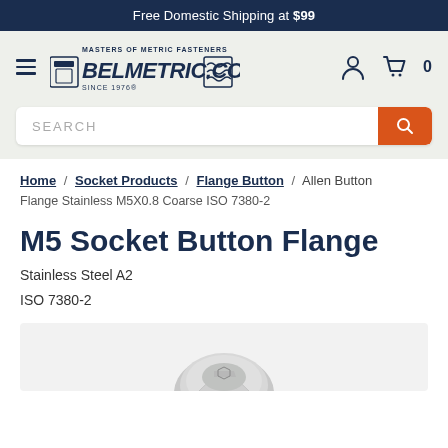Free Domestic Shipping at $99
[Figure (logo): Belmetric.com Masters of Metric Fasteners logo with bolt/nut imagery, since 1976]
SEARCH
Home / Socket Products / Flange Button / Allen Button Flange Stainless M5X0.8 Coarse ISO 7380-2
M5 Socket Button Flange
Stainless Steel A2
ISO 7380-2
[Figure (photo): Partial view of M5 stainless steel socket button flange bolt/screw on light grey background]